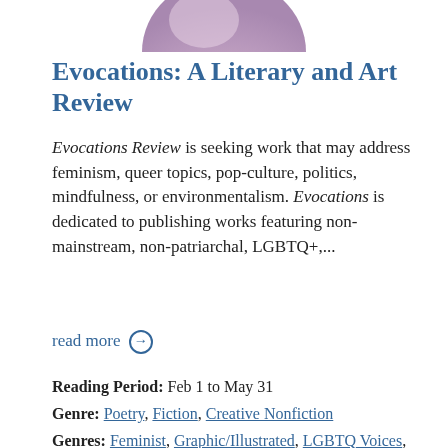[Figure (illustration): Partial circular illustration with pink/purple tones, cropped at top of page]
Evocations: A Literary and Art Review
Evocations Review is seeking work that may address feminism, queer topics, pop-culture, politics, mindfulness, or environmentalism. Evocations is dedicated to publishing works featuring non-mainstream, non-patriarchal, LGBTQ+,...
read more →
Reading Period:  Feb 1 to May 31
Genre:  Poetry, Fiction, Creative Nonfiction
Genres:  Feminist, Graphic/Illustrated, LGBTQ Voices, Nature/Environmental, Political, Pop Culture